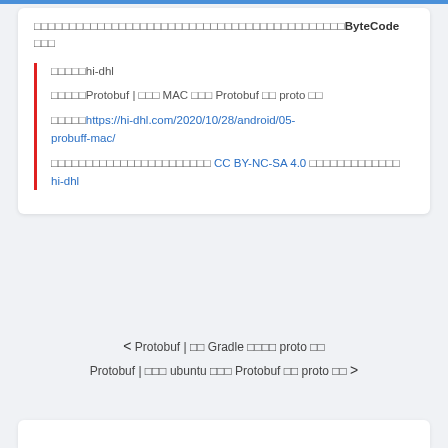□□□□□□□□□□□□□□□□□□□□□□□□□□□□□□□□□□□□□□□□□□□□ByteCode □□□
□□□□□hi-dhl
□□□□□Protobuf | □□□ MAC □□□ Protobuf □□ proto □□
□□□□□https://hi-dhl.com/2020/10/28/android/05-probuff-mac/
□□□□□□□□□□□□□□□□□□□□□□□ CC BY-NC-SA 4.0 □□□□□□□□□□□□□ hi-dhl
< Protobuf | □□ Gradle □□□□ proto □□
Protobuf | □□□ ubuntu □□□ Protobuf □□ proto □□ >